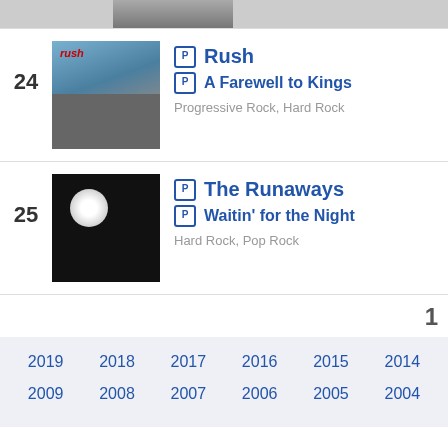[Figure (photo): Partial album art strip at top of page]
24 | Rush | A Farewell to Kings | Progressive Rock, Hard Rock
25 | The Runaways | Waitin' for the Night | Hard Rock, Pop Rock
1
2019 2018 2017 2016 2015 2014 2009 2008 2007 2006 2005 2004